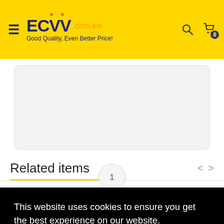ECVV .com.kw — Good Quality, Even Better Price!
[Figure (photo): Product image placeholder area, rounded rectangle, light gray background]
Related items
ECVV
ECVV (product link)
6...
This website uses cookies to ensure you get the best experience on our website. Learn more
1
$187.00 USD
ADD TO CART